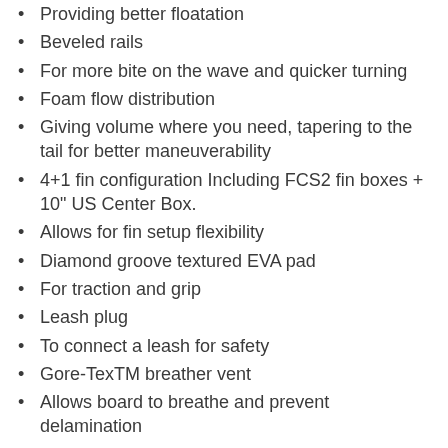Providing better floatation
Beveled rails
For more bite on the wave and quicker turning
Foam flow distribution
Giving volume where you need, tapering to the tail for better maneuverability
4+1 fin configuration Including FCS2 fin boxes + 10" US Center Box.
Allows for fin setup flexibility
Diamond groove textured EVA pad
For traction and grip
Leash plug
To connect a leash for safety
Gore-TexTM breather vent
Allows board to breathe and prevent delamination
Action camera mount on the nose
To capture your adventures on the water
Technical Specs
Model: Slice
Shaper: Jon Henderson